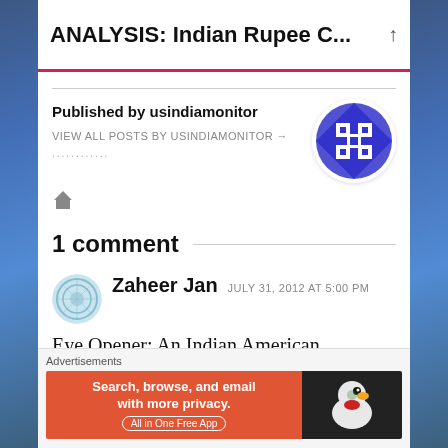ANALYSIS: Indian Rupee C...
Published by usindiamonitor
VIEW ALL POSTS BY USINDIAMONITOR →
[Figure (logo): Circular avatar logo with blue and white geometric/checkerboard pattern for usindiamonitor]
[Figure (illustration): Home icon (house symbol) in grey]
1 comment
[Figure (illustration): Circular avatar for commenter Zaheer Jan, light blue circular pattern]
Zaheer Jan   JULY 31, 2012 AT 5:00 PM
Eye Opener: An Indian American
Advertisements
[Figure (screenshot): DuckDuckGo advertisement banner: orange left section reading 'Search, browse, and email with more privacy. All in One Free App' and dark right section with DuckDuckGo logo]